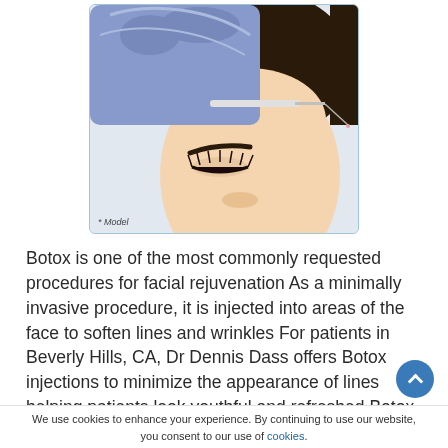[Figure (photo): Close-up photo of a woman receiving a Botox injection in her forehead from a medical professional wearing blue latex gloves, holding a syringe. Label '* Model' appears at bottom left of photo.]
Botox is one of the most commonly requested procedures for facial rejuvenation As a minimally invasive procedure, it is injected into areas of the face to soften lines and wrinkles For patients in Beverly Hills, CA, Dr Dennis Dass offers Botox injections to minimize the appearance of lines helping patients look youthful and refreshed Botox treatments are popular among patients who are beginning to look for anti-
We use cookies to enhance your experience. By continuing to use our website, you consent to our use of cookies.